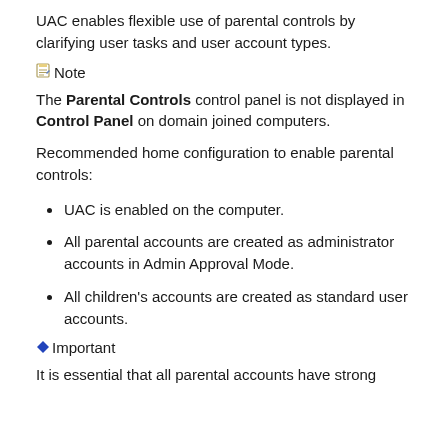UAC enables flexible use of parental controls by clarifying user tasks and user account types.
Note
The Parental Controls control panel is not displayed in Control Panel on domain joined computers.
Recommended home configuration to enable parental controls:
UAC is enabled on the computer.
All parental accounts are created as administrator accounts in Admin Approval Mode.
All children's accounts are created as standard user accounts.
Important
It is essential that all parental accounts have strong